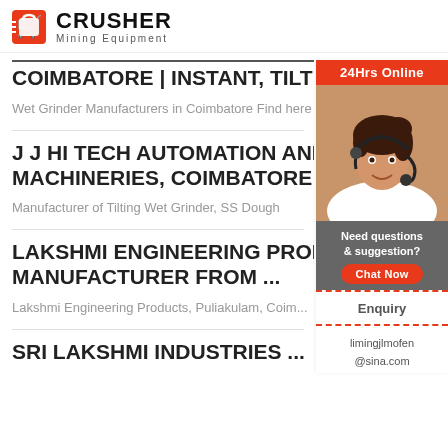CRUSHER Mining Equipment
WET GRINDER MANUFACTURERS IN COIMBATORE | INSTANT, TILTING ...
Wet Grinder Manufacturers in Coimbatore Find here the be...
J J HI TECH AUTOMATION AND MACHINERIES, COIMBATORE .
Manufacturer of Tilting Wet Grinder, SS Dough
[Figure (photo): Customer service woman with headset, 24Hrs Online banner, chat panel with Need questions & suggestion, Chat Now button, Enquiry section, limingjlmofen@sina.com email]
LAKSHMI ENGINEERING PRODUCTS MANUFACTURER FROM ...
Lakshmi Engineering Products, Puliakulam, Coim...
SRI LAKSHMI INDUSTRIES ...